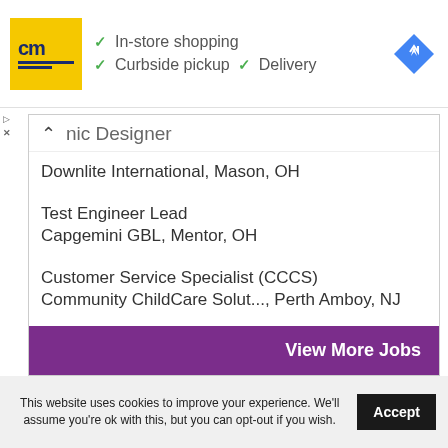[Figure (logo): cm logo in yellow square with blue text and navigation icon, with checklist ad: In-store shopping, Curbside pickup, Delivery]
nic Designer
Downlite International, Mason, OH
Test Engineer Lead
Capgemini GBL, Mentor, OH
Customer Service Specialist (CCCS)
Community ChildCare Solut..., Perth Amboy, NJ
View More Jobs
This website uses cookies to improve your experience. We'll assume you're ok with this, but you can opt-out if you wish.
Accept